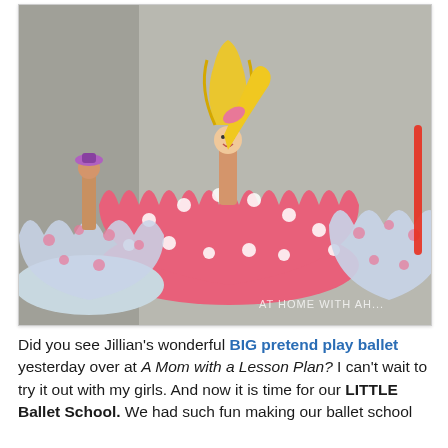[Figure (photo): Craft ballerina figures made from clothespins or small wooden dolls dressed in cupcake liner skirts (pink polka-dot and floral fabric patterns). The central figure has yellow yarn hair and a pink cupcake-liner tutu, with a smiling face drawn on. Several similar figures are visible in the background on a reflective surface. Watermark reads 'AT HOME WITH AH...' in lower right.]
Did you see Jillian's wonderful BIG pretend play ballet yesterday over at A Mom with a Lesson Plan? I can't wait to try it out with my girls. And now it is time for our LITTLE Ballet School. We had such fun making our ballet school